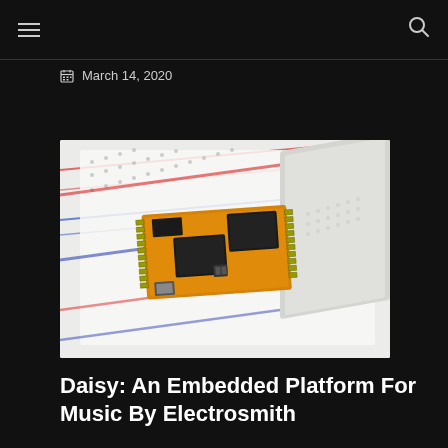March 14, 2020
[Figure (photo): A Daisy embedded development board (orange PCB with black chips) placed on a white breadboard with red and blue stripe markings]
Daisy: An Embedded Platform For Music By Electrosmith